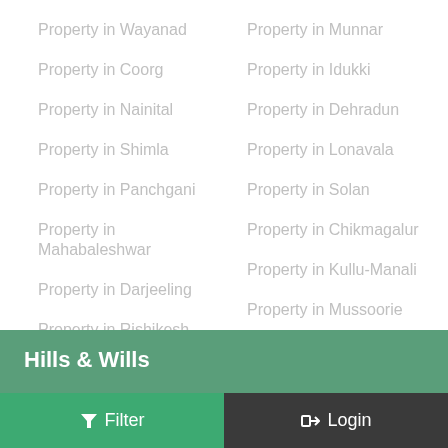Property in Wayanad
Property in Munnar
Property in Coorg
Property in Idukki
Property in Nainital
Property in Dehradun
Property in Shimla
Property in Lonavala
Property in Panchgani
Property in Solan
Property in Mahabaleshwar
Property in Chikmagalur
Property in Kullu-Manali
Property in Darjeeling
Property in Mussoorie
Property in Rishikesh
Property in Siliguri
Hills & Wills
Filter   Login